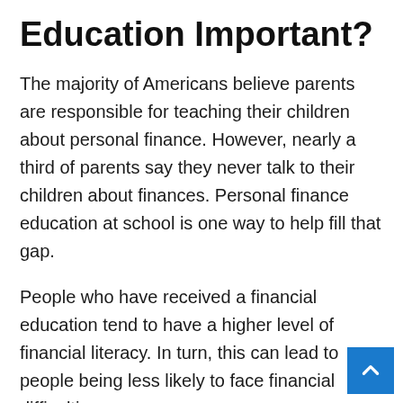Education Important?
The majority of Americans believe parents are responsible for teaching their children about personal finance. However, nearly a third of parents say they never talk to their children about finances. Personal finance education at school is one way to help fill that gap.
People who have received a financial education tend to have a higher level of financial literacy. In turn, this can lead to people being less likely to face financial difficulties.
People with low levels of financial literacy were five times more likely to be unable to cover one month of living expenses, when compared to people with high financial literacy. Separate